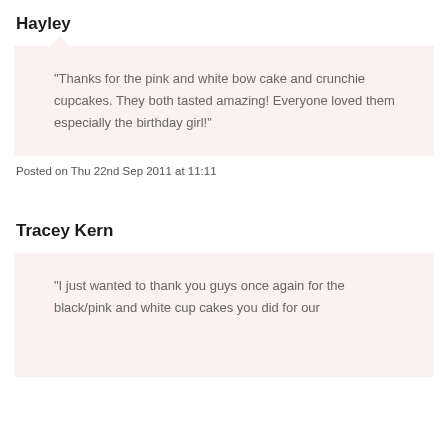Hayley
“Thanks for the pink and white bow cake and crunchie cupcakes. They both tasted amazing! Everyone loved them especially the birthday girl!”
Posted on Thu 22nd Sep 2011 at 11:11
Tracey Kern
“I just wanted to thank you guys once again for the black/pink and white cup cakes you did for our